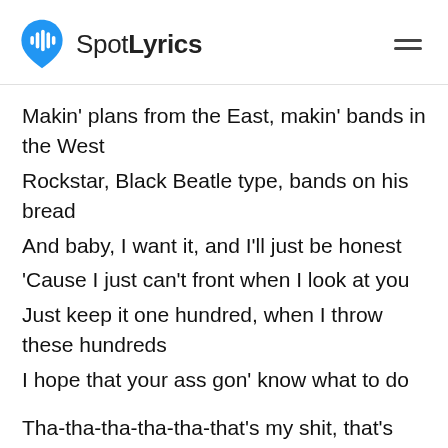SpotLyrics
Makin' plans from the East, makin' bands in the West
Rockstar, Black Beatle type, bands on his bread
And baby, I want it, and I'll just be honest
'Cause I just can't front when I look at you
Just keep it one hundred, when I throw these hundreds
I hope that your ass gon' know what to do
Tha-tha-tha-tha-tha-that's my shit, that's my wave
Do it like that and I'll repay it